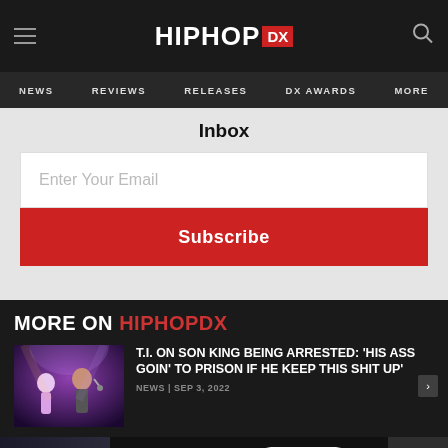HIPHOP DX
NEWS  REVIEWS  RELEASES  DX AWARDS  MORE
Inbox
Enter Your Email
Subscribe
MORE ON HIPHOPDX
[Figure (photo): Thumbnail image of T.I. performing on stage]
T.I. ON SON KING BEING ARRESTED: 'HIS ASS GOIN' TO PRISON IF HE KEEP THIS SHIT UP'
NEWS | SEP 3, 2022
[Figure (infographic): Magnum advertisement banner with LEARN MORE button]
HING Z-